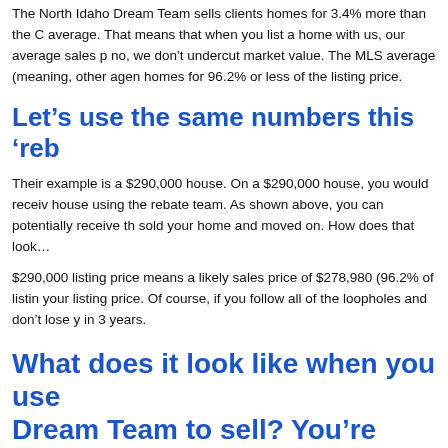The North Idaho Dream Team sells clients homes for 3.4% more than the C average. That means that when you list a home with us, our average sales p no, we don't undercut market value. The MLS average (meaning, other agen homes for 96.2% or less of the listing price.
Let's use the same numbers this 'reb
Their example is a $290,000 house. On a $290,000 house, you would receiv house using the rebate team. As shown above, you can potentially receive th sold your home and moved on. How does that look…
$290,000 listing price means a likely sales price of $278,980 (96.2% of listin your listing price. Of course, if you follow all of the loopholes and don't lose y in 3 years.
What does it look like when you use Dream Team to sell? You're nearly $
$290,000 listing price means a likely sales price of $288,840. That means yo
without loop holes, without time periods, right at the closing table.